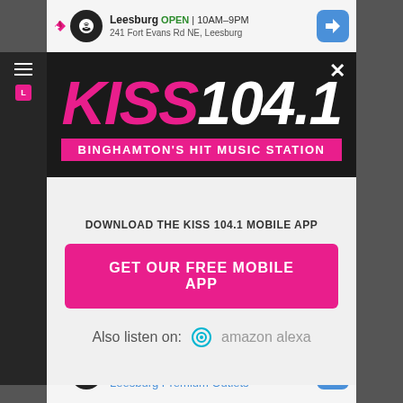[Figure (screenshot): Top advertisement bar showing Leesburg store, OPEN 10AM-9PM, 241 Fort Evans Rd NE Leesburg]
[Figure (logo): KISS 104.1 radio station logo in pink and white on dark background, with tagline BINGHAMTON'S HIT MUSIC STATION]
DOWNLOAD THE KISS 104.1 MOBILE APP
GET OUR FREE MOBILE APP
Also listen on: amazon alexa
[Figure (screenshot): Bottom advertisement bar showing Save Up to 65% Leesburg Premium Outlets]